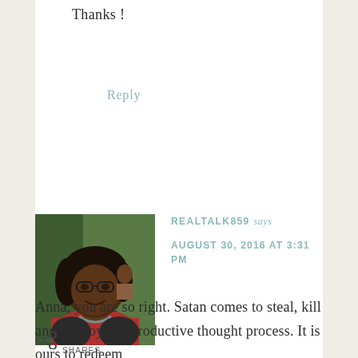Thanks !
Reply
[Figure (photo): Profile photo of commenter REALTALK859, a woman wearing glasses and a red top, outdoors]
REALTALK859 says
AUGUST 30, 2016 AT 3:31 PM
Anna, you are so right. Satan comes to steal, kill and destroy our productive thought process. It is ours to redeem
0 SHARES